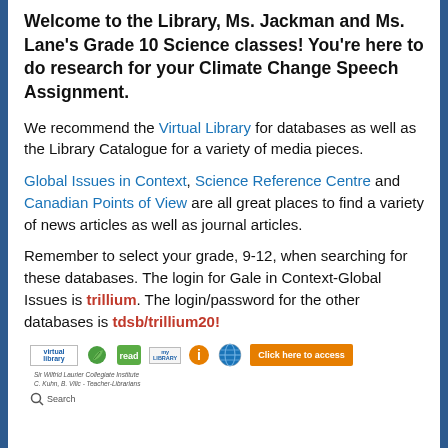Welcome to the Library, Ms. Jackman and Ms. Lane's Grade 10 Science classes! You're here to do research for your Climate Change Speech Assignment.
We recommend the Virtual Library for databases as well as the Library Catalogue for a variety of media pieces.
Global Issues in Context, Science Reference Centre and Canadian Points of View are all great places to find a variety of news articles as well as journal articles.
Remember to select your grade, 9-12, when searching for these databases. The login for Gale in Context-Global Issues is trillium. The login/password for the other databases is tdsb/trillium20!
[Figure (screenshot): Row of library logos and icons including virtual library, read icons, my library, info icon, globe/Cantuliv icon, and a Click here to access button. Below shows credits: Sir Wilfrid Laurier Collegiate Institute, C. Kuhn, B. Vilic - Teacher-Librarians. A search bar is also visible.]